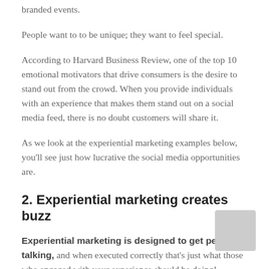branded events.
People want to to be unique; they want to feel special.
According to Harvard Business Review, one of the top 10 emotional motivators that drive consumers is the desire to stand out from the crowd. When you provide individuals with an experience that makes them stand out on a social media feed, there is no doubt customers will share it.
As we look at the experiential marketing examples below, you'll see just how lucrative the social media opportunities are.
2. Experiential marketing creates buzz
Experiential marketing is designed to get people talking, and when executed correctly that's just what those who engaged with your experience should be doing!